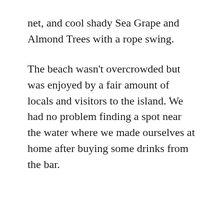net, and cool shady Sea Grape and Almond Trees with a rope swing.
The beach wasn't overcrowded but was enjoyed by a fair amount of locals and visitors to the island. We had no problem finding a spot near the water where we made ourselves at home after buying some drinks from the bar.